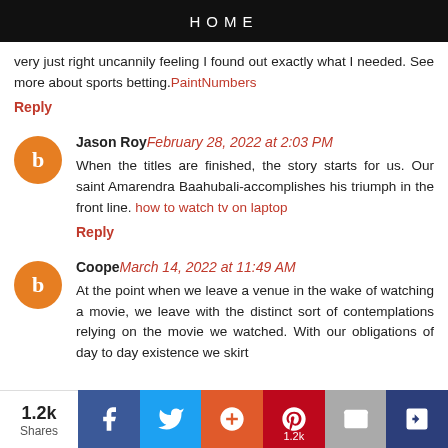HOME
very just right uncannily feeling I found out exactly what I needed. See more about sports betting.PaintNumbers
Reply
Jason Roy February 28, 2022 at 2:03 PM
When the titles are finished, the story starts for us. Our saint Amarendra Baahubali-accomplishes his triumph in the front line. how to watch tv on laptop
Reply
Coope March 14, 2022 at 11:49 AM
At the point when we leave a venue in the wake of watching a movie, we leave with the distinct sort of contemplations relying on the movie we watched. With our obligations of day to day existence we skirt
1.2k Shares